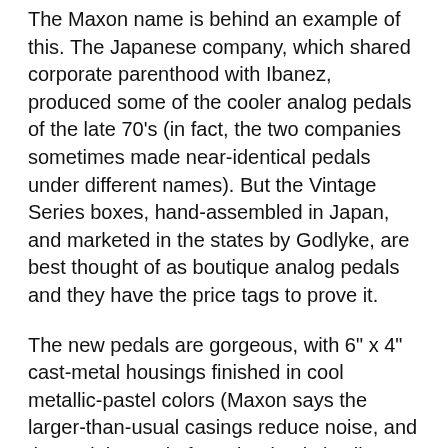The Maxon name is behind an example of this. The Japanese company, which shared corporate parenthood with Ibanez, produced some of the cooler analog pedals of the late 70's (in fact, the two companies sometimes made near-identical pedals under different names). But the Vintage Series boxes, hand-assembled in Japan, and marketed in the states by Godlyke, are best thought of as boutique analog pedals  and they have the price tags to prove it.
The new pedals are gorgeous, with 6" x 4" cast-metal housings finished in cool metallic-pastel colors (Maxon says the larger-than-usual casings reduce noise, and the pedals are, in fact, dead quiet). All include power supplies  an important detail given that the delay, chorus and phaser pedals require AC power.
AD900 ANALOG DELAY